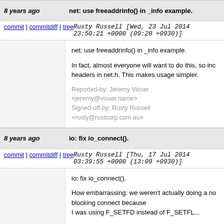8 years ago | net: use freeaddrinfo() in _info example.
commit | commitdiff | tree   Rusty Russell [Wed, 23 Jul 2014 23:50:21 +0000 (09:20 +0930)]
net: use freeaddrinfo() in _info example.

In fact, almost everyone will want to do this, so inc headers in net.h.  This makes usage simpler.

Reported-by: Jeremy Visser <jeremy@visser.name>
Signed-off-by: Rusty Russell <rusty@rustcorp.com.au>
8 years ago | io: fix io_connect().
commit | commitdiff | tree   Rusty Russell [Thu, 17 Jul 2014 03:39:55 +0000 (13:09 +0930)]
io: fix io_connect().

How embarrassing: we weren't actually doing a no blocking connect because
I was using F_SETFD instead of F_SETFL...

Signed-off-by: Rusty Russell <rusty@rustcorp.com.au>
8 years ago | structeq: new module.